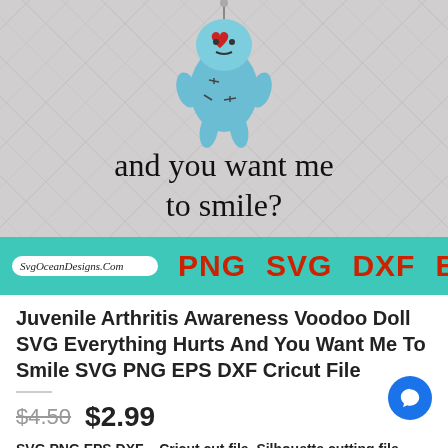[Figure (illustration): Juvenile Arthritis Awareness Voodoo Doll SVG product image. A blue voodoo doll with stitches and a red heart, with text 'and you want me to smile?' on a diamond-pattern background. A teal banner at the bottom shows the SvgOceanDesigns.Com logo and format labels PNG SVG DXF EPS in red.]
Juvenile Arthritis Awareness Voodoo Doll SVG Everything Hurts And You Want Me To Smile SVG PNG EPS DXF Cricut File
$4.50  $2.99
SVG PNG EPS DXF – Cricut cut file, Silhouette cutting file
Instruction To Buy And Download Designs!